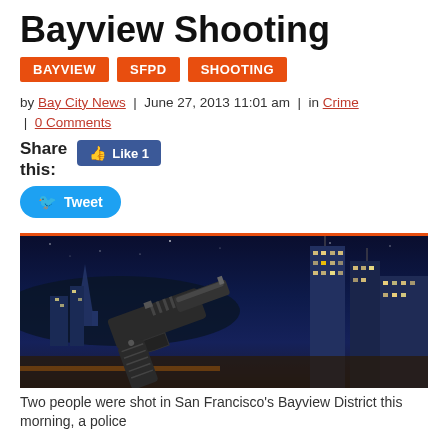Bayview Shooting
BAYVIEW | SFPD | SHOOTING
by Bay City News | June 27, 2013 11:01 am | in Crime | 0 Comments
Share this: Like 1
Tweet
[Figure (photo): Composite photo of San Francisco skyline at night with lit skyscrapers and a handgun in the foreground]
Two people were shot in San Francisco's Bayview District this morning, a police